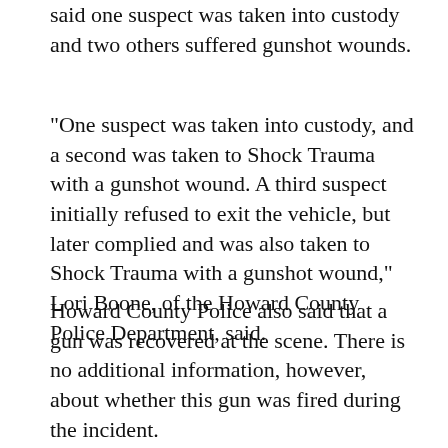said one suspect was taken into custody and two others suffered gunshot wounds.
"One suspect was taken into custody, and a second was taken to Shock Trauma with a gunshot wound. A third suspect initially refused to exit the vehicle, but later complied and was also taken to Shock Trauma with a gunshot wound," Lori Boone, of the Howard County Police Department, said.
Howard County Police also said that a gun was recovered at the scene. There is no additional information, however, about whether this gun was fired during the incident.